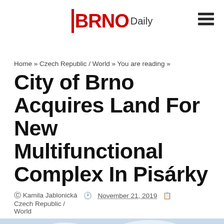BRNO Daily
Home » Czech Republic / World » You are reading »
City of Brno Acquires Land For New Multifunctional Complex In Pisárky
Kamila Jablonická  November 21, 2019  Czech Republic / World
[Figure (photo): Winter sky with bare tree branches against a light blue cloudy sky]